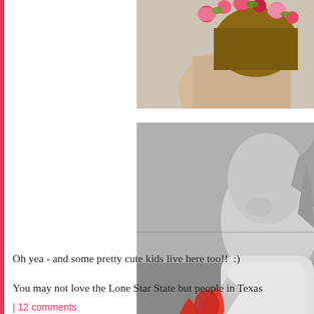[Figure (photo): Partial photo of a child with a colorful flower crown, cropped at top of page, right side]
[Figure (photo): Black and white photo of a young girl holding a colorful bouquet of wildflowers, looking down at them]
Oh yea - and some pretty cute kids live here too!!  :)
You may not love the Lone Star State but people in Texas
| 12 comments